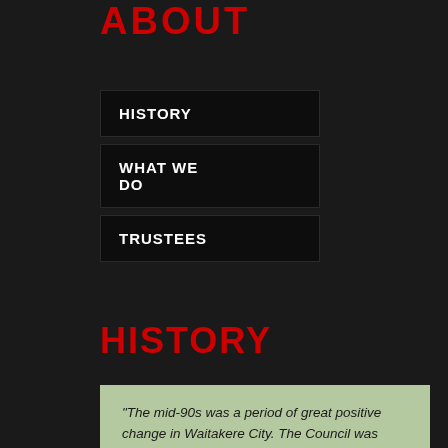ABOUT
HISTORY
WHAT WE DO
TRUSTEES
HISTORY
“The mid-90s was a period of great positive change in Waitakere City. The Council was working well as a unit and the community was on board with us, driving our eco-city strategies forward in a wide range of practical ways. I also recall the mounting